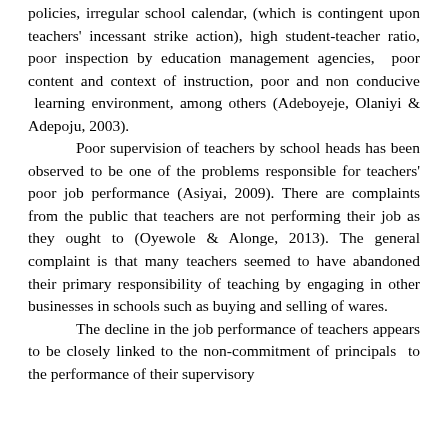policies, irregular school calendar, (which is contingent upon teachers' incessant strike action), high student-teacher ratio, poor inspection by education management agencies, poor content and context of instruction, poor and non conducive learning environment, among others (Adeboyeje, Olaniyi & Adepoju, 2003). Poor supervision of teachers by school heads has been observed to be one of the problems responsible for teachers' poor job performance (Asiyai, 2009). There are complaints from the public that teachers are not performing their job as they ought to (Oyewole & Alonge, 2013). The general complaint is that many teachers seemed to have abandoned their primary responsibility of teaching by engaging in other businesses in schools such as buying and selling of wares. The decline in the job performance of teachers appears to be closely linked to the non-commitment of principals to the performance of their supervisory